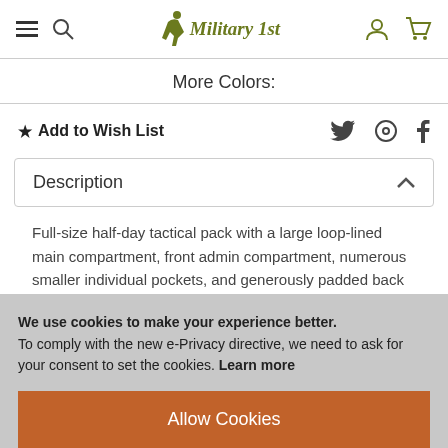Military 1st — navigation header with hamburger menu, search, logo, user account, and cart icons
More Colors:
★ Add to Wish List
Description
Full-size half-day tactical pack with a large loop-lined main compartment, front admin compartment, numerous smaller individual pockets, and generously padded back section and
We use cookies to make your experience better. To comply with the new e-Privacy directive, we need to ask for your consent to set the cookies. Learn more
Allow Cookies